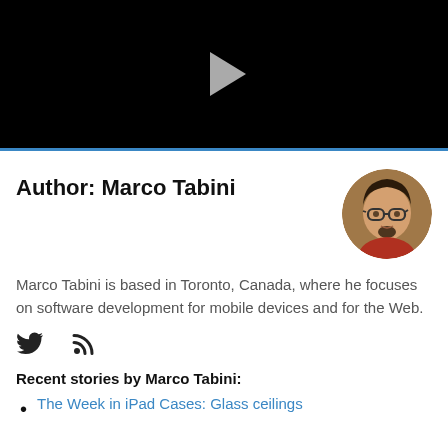[Figure (screenshot): Black video player area with a light gray play button triangle centered at the top]
Author: Marco Tabini
[Figure (photo): Circular avatar photo of Marco Tabini, a man wearing glasses and a red sweater with a goatee]
Marco Tabini is based in Toronto, Canada, where he focuses on software development for mobile devices and for the Web.
[Figure (infographic): Twitter bird icon and RSS feed icon social links]
Recent stories by Marco Tabini:
The Week in iPad Cases: Glass ceilings